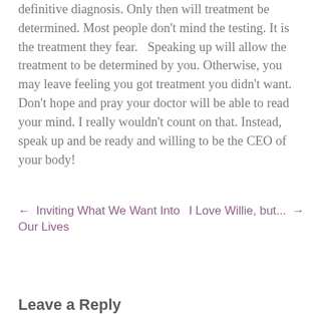definitive diagnosis. Only then will treatment be determined. Most people don't mind the testing. It is the treatment they fear.   Speaking up will allow the treatment to be determined by you. Otherwise, you may leave feeling you got treatment you didn't want. Don't hope and pray your doctor will be able to read your mind. I really wouldn't count on that. Instead, speak up and be ready and willing to be the CEO of your body!
← Inviting What We Want Into Our Lives
I Love Willie, but... →
Leave a Reply